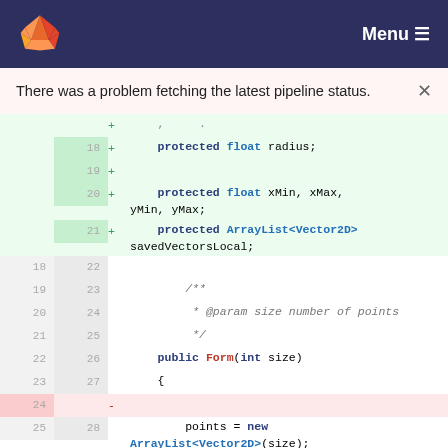GitLab — Menu
There was a problem fetching the latest pipeline status.
[Figure (screenshot): GitLab diff view showing lines 18-29 of a Java-like file. Lines 18, 19, 20, 21 are added (green). Lines 18-27 are unchanged context. Line 24 is removed (pink). Lines 25-26 show added/unchanged code with points = new ArrayList<Vector2D>(size); and for (int i = 0; i < size; i++)]